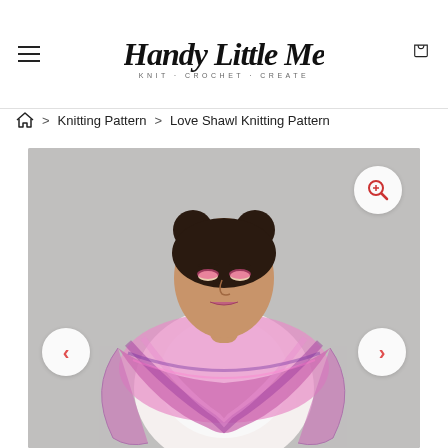Handy Little Me — KNIT · CROCHET · CREATE
Home > Knitting Pattern > Love Shawl Knitting Pattern
[Figure (photo): A young woman with dark hair in two buns, wearing a pink and purple knitted shawl draped around her shoulders, looking downward, against a light grey background. The photo is displayed in a product image slider with previous/next navigation arrows and a magnify button.]